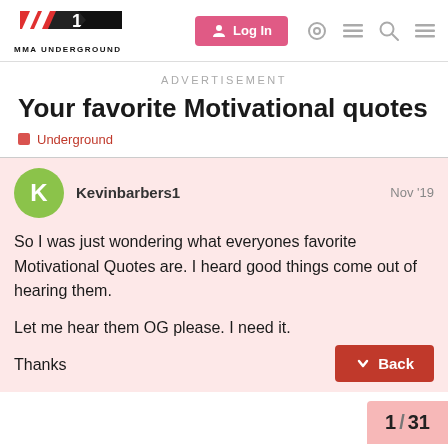MMA UNDERGROUND — Log In
ADVERTISEMENT
Your favorite Motivational quotes
Underground
Kevinbarbers1  Nov '19
So I was just wondering what everyones favorite Motivational Quotes are. I heard good things come out of hearing them.

Let me hear them OG please. I need it.

Thanks
Back
1 / 31